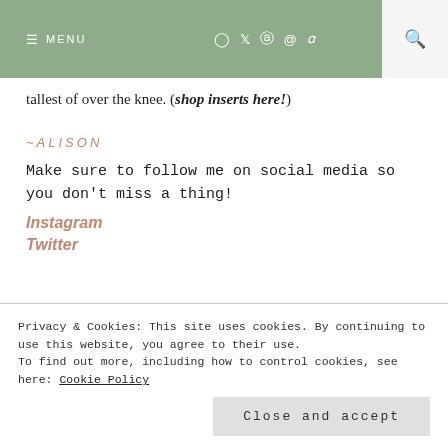≡ MENU  [icons: instagram, twitter, pinterest, facebook, amazon]  [search]
tallest of over the knee. (shop inserts here!)
~ALISON
Make sure to follow me on social media so you don't miss a thing!
Instagram
Twitter
Privacy & Cookies: This site uses cookies. By continuing to use this website, you agree to their use.
To find out more, including how to control cookies, see here: Cookie Policy
Close and accept